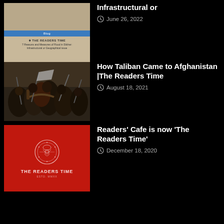[Figure (screenshot): Thumbnail of a blog post about 7 Reasons and Measures of Flood in Silchar: Infrastructural or Geographical Issue, showing The Readers Time logo on a beige/tan background]
Infrastructural or
June 26, 2022
[Figure (photo): Crowd of Taliban fighters with weapons raised, black and white protest/celebration scene]
How Taliban Came to Afghanistan |The Readers Time
August 18, 2021
[Figure (logo): The Readers Time logo on red background with decorative emblem]
Readers’ Cafe is now ‘The Readers Time’
December 18, 2020